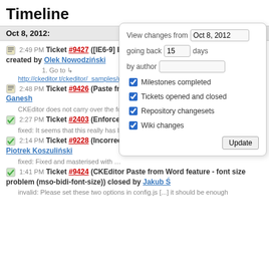Timeline
Oct 8, 2012:
2:49 PM Ticket #9427 ([IE6-9] Error when pasting with SCAYT enabled) created by Olek Nowodziński
1. Go to →
http://ckeditor.t/ckeditor/_samples/replacebycode.html 2. …
2:48 PM Ticket #9426 (Paste from Word feature - issue) created by Ganesh
CKEditor does not carry over the formatting from word document while …
2:27 PM Ticket #2403 (Enforce EnterMode) closed by Jakub Ś
fixed: It seems that this really has been fixed in CKEditor. All that needs …
2:14 PM Ticket #9228 (Incorrect undo state on inline instance) closed by Piotrek Koszuliński
fixed: Fixed and masterised with …
1:41 PM Ticket #9424 (CKEditor Paste from Word feature - font size problem (mso-bidi-font-size)) closed by Jakub Ś
invalid: Please set these two options in config.js [...] it should be enough